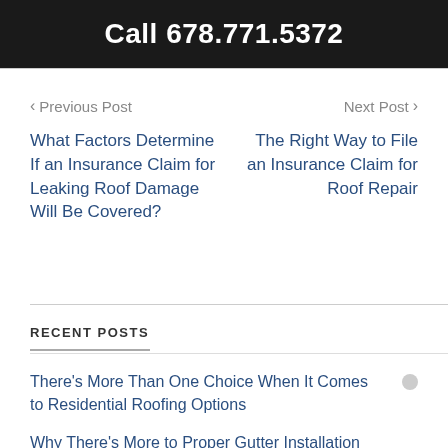Call 678.771.5372
Previous Post
Next Post
What Factors Determine If an Insurance Claim for Leaking Roof Damage Will Be Covered?
The Right Way to File an Insurance Claim for Roof Repair
RECENT POSTS
There's More Than One Choice When It Comes to Residential Roofing Options
Why There's More to Proper Gutter Installation